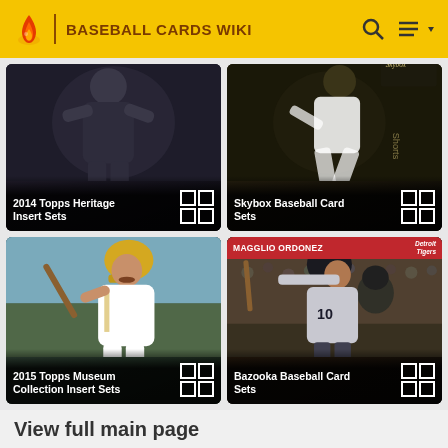BASEBALL CARDS WIKI
[Figure (photo): 2014 Topps Heritage Insert Sets baseball card image with dark background showing a baseball player]
[Figure (photo): Skybox Baseball Card Sets image with player in white uniform, text 'Shorts' visible sideways]
[Figure (photo): 2015 Topps Museum Collection Insert Sets showing illustrated baseball batter in yellow helmet]
[Figure (photo): Bazooka Baseball Card Sets showing Magglio Ordonez Detroit Tigers in red header band]
View full main page